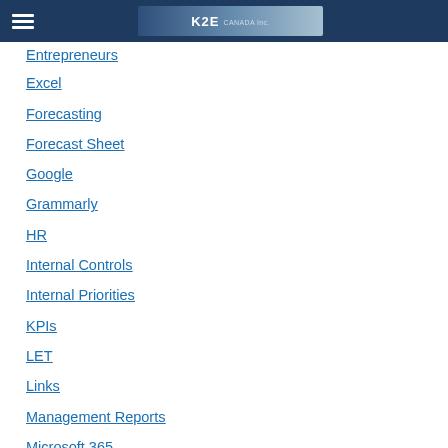K2E Canada Inc.
Entrepreneurs
Excel
Forecasting
Forecast Sheet
Google
Grammarly
HR
Internal Controls
Internal Priorities
KPIs
LET
Links
Management Reports
Microsoft 365
Microsoft Office 2021
Microsoft Teams
Office